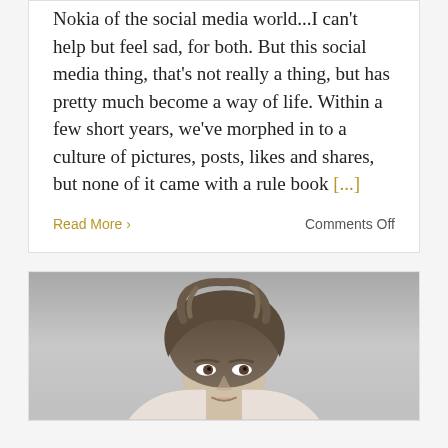Nokia of the social media world...I can't help but feel sad, for both. But this social media thing, that's not really a thing, but has pretty much become a way of life. Within a few short years, we've morphed in to a culture of pictures, posts, likes and shares, but none of it came with a rule book [...]
Read More ›
Comments Off
[Figure (photo): Black and white portrait photo of a woman with wavy hair, looking slightly upward]